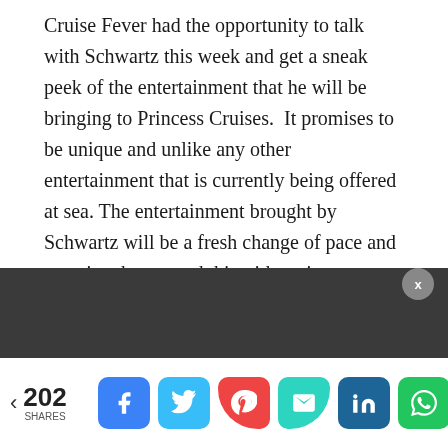Cruise Fever had the opportunity to talk with Schwartz this week and get a sneak peek of the entertainment that he will be bringing to Princess Cruises.  It promises to be unique and unlike any other entertainment that is currently being offered at sea. The entertainment brought by Schwartz will be a fresh change of pace and promises be a smash hit with cruisers.
Sponsored Links
< 202 SHARES | Facebook | Twitter | Pinterest | Email | LinkedIn | WhatsApp